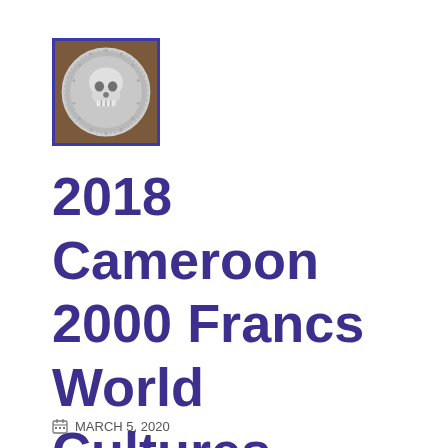[Figure (photo): Thumbnail photo of a silver coin with a skull design, framed with a blue border]
2018 Cameroon 2000 Francs World Cultures KAPALA 2 Oz Silver Coin
MARCH 5, 2020